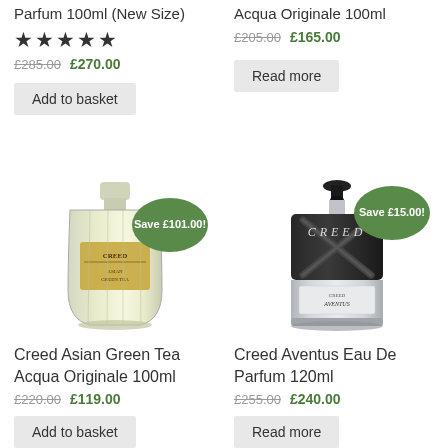Parfum 100ml (New Size)
★★★★★
£285.00 £270.00
Add to basket
Acqua Originale 100ml
£205.00 £165.00
Read more
[Figure (photo): Creed Asian Green Tea Acqua Originale 100ml perfume bottle with green save badge showing Save £101.00!]
[Figure (photo): Creed Aventus Eau De Parfum 120ml perfume bottle with green save badge showing Save £15.00!]
Creed Asian Green Tea Acqua Originale 100ml
£220.00 £119.00
Add to basket
Creed Aventus Eau De Parfum 120ml
£255.00 £240.00
Read more